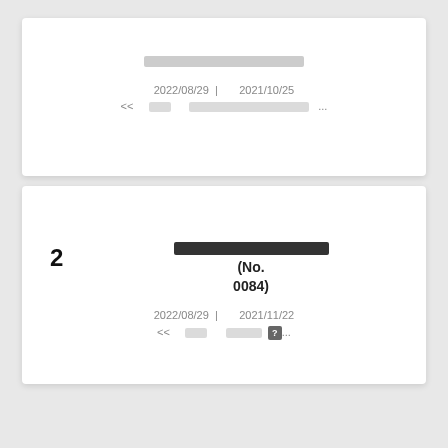[placeholder title text - Japanese characters redacted]
2022/08/29 | 2021/10/25
<< [nav] [placeholder text] ...
2 [placeholder title] (No. 0084)
2022/08/29 | 2021/11/22
<< [nav] [placeholder] ?...